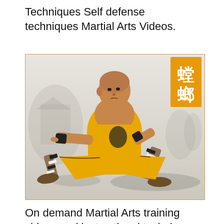Techniques Self defense techniques Martial Arts Videos.
[Figure (photo): A Shaolin monk in a yellow martial arts uniform performing a wide stance kung fu pose. The monk is shirtless on top with yellow pants and black/white wrapped legs and brown shoes. Background shows a faded Chinese landscape painting. An orange banner with Chinese characters (螳螂) appears in the upper right corner of the image.]
On demand Martial Arts training videos and instructional techniques and